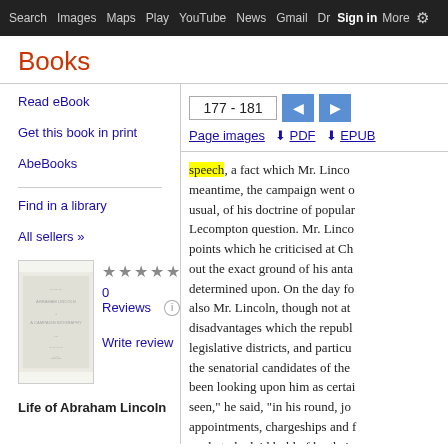Search  Images  Maps  Play  YouTube  News  Gmail  Drive  More  Sign in
Books
Read eBook
Get this book in print
AbeBooks
Find in a library
All sellers »
0 Reviews   Write review
Life of Abraham Lincoln
177 - 181
Page images  PDF  EPUB
speech, a fact which Mr. Linco... meantime, the campaign went o... usual, of his doctrine of popular... Lecompton question. Mr. Linco... points which he criticised at Ch... out the exact ground of his anta... determined upon. On the day fo... also Mr. Lincoln, though not at... disadvantages which the republ... legislative districts, and particu... the senatorial candidates of the... been looking upon him as certai... seen," he said, "in his round, jo... appointments, chargeships and f... ready to be laid hold of by thei...